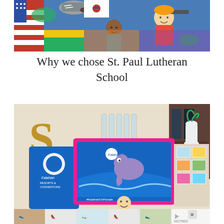[Figure (photo): Colorful illustrated rug showing cartoon children from different nations with flags; a child's sneakered foot is visible stepping on it.]
Why we chose St. Paul Lutheran School
[Figure (photo): A smiling child holding up a large Kalahari Resorts box/poster above their head; room decorated with cork letter S, glass bottles, and photos on a bulletin board.]
[Figure (photo): Advertisement banner showing five thumbnail images of women's shoes/feet, with a Nstree logo and ad badge.]